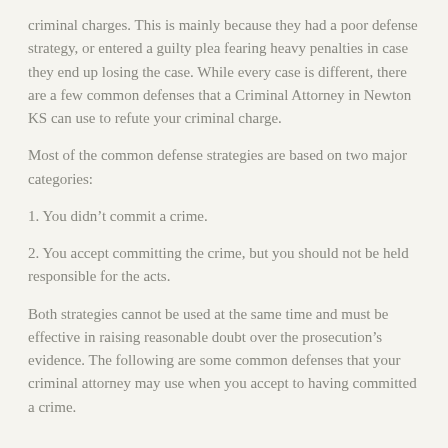criminal charges. This is mainly because they had a poor defense strategy, or entered a guilty plea fearing heavy penalties in case they end up losing the case. While every case is different, there are a few common defenses that a Criminal Attorney in Newton KS can use to refute your criminal charge.
Most of the common defense strategies are based on two major categories:
1. You didn’t commit a crime.
2. You accept committing the crime, but you should not be held responsible for the acts.
Both strategies cannot be used at the same time and must be effective in raising reasonable doubt over the prosecution’s evidence. The following are some common defenses that your criminal attorney may use when you accept to having committed a crime.